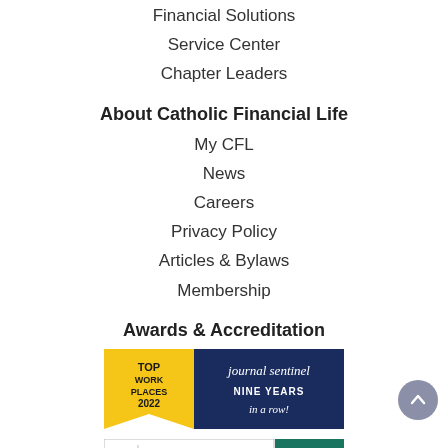Financial Solutions
Service Center
Chapter Leaders
About Catholic Financial Life
My CFL
News
Careers
Privacy Policy
Articles & Bylaws
Membership
Awards & Accreditation
[Figure (logo): Top Work Places 2022 - journal sentinel - Nine Years in a row!]
[Figure (logo): BBB Accredited Business A+]
[Figure (logo): 2020 badge (partially visible)]